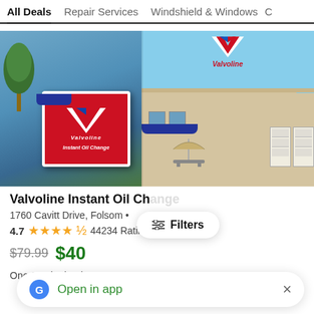All Deals  Repair Services  Windshield & Windows  C
[Figure (photo): Valvoline Instant Oil Change location exterior photos — left: red signage with V logo and 'Instant Oil Change' text; right: building facade with blue awning and Valvoline branding]
Valvoline Instant Oil Change
1760 Cavitt Drive, Folsom •
4.7  ★★★★⯨  44234 Ratings
$79.99  $40
One Synthetic Blen...